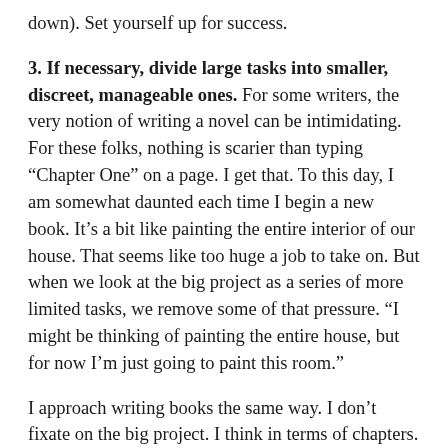down). Set yourself up for success.
3. If necessary, divide large tasks into smaller, discreet, manageable ones. For some writers, the very notion of writing a novel can be intimidating. For these folks, nothing is scarier than typing “Chapter One” on a page. I get that. To this day, I am somewhat daunted each time I begin a new book. It’s a bit like painting the entire interior of our house. That seems like too huge a job to take on. But when we look at the big project as a series of more limited tasks, we remove some of that pressure. “I might be thinking of painting the entire house, but for now I’m just going to paint this room.”
I approach writing books the same way. I don’t fixate on the big project. I think in terms of chapters. How does the book start? What comes next? What do I need to do after that? And so on. I don’t tend to set deadlines for each chapter, because I write my chapters in one or two days. But again, that is something I can do now that I couldn’t have imagined when I began my